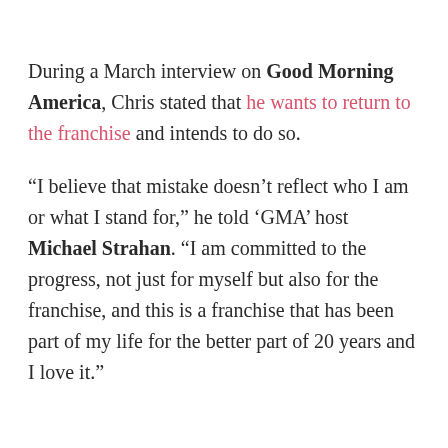During a March interview on Good Morning America, Chris stated that he wants to return to the franchise and intends to do so.
“I believe that mistake doesn’t reflect who I am or what I stand for,” he told ‘GMA’ host Michael Strahan. “I am committed to the progress, not just for myself but also for the franchise, and this is a franchise that has been part of my life for the better part of 20 years and I love it.”